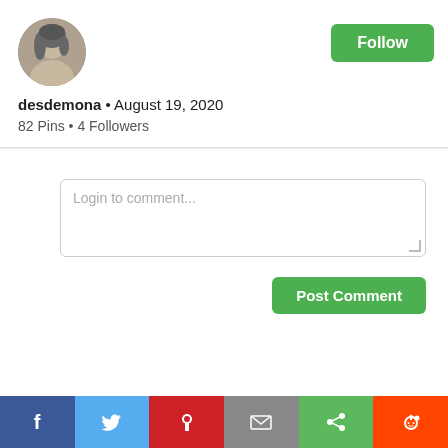[Figure (photo): Circular profile photo of a woman with light hair]
Follow
desdemona • August 19, 2020
82 Pins • 4 Followers
Login to comment...
Post Comment
Pinned onto Erotic Beauties
Follow Board